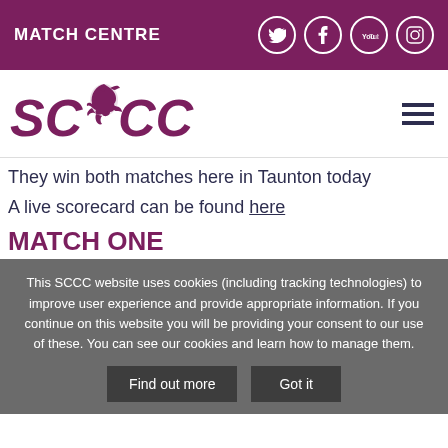MATCH CENTRE
[Figure (logo): SCCC Somerset County Cricket Club logo with dragon emblem]
They win both matches here in Taunton today
A live scorecard can be found here
MATCH ONE
This SCCC website uses cookies (including tracking technologies) to improve user experience and provide appropriate information. If you continue on this website you will be providing your consent to our use of these. You can see our cookies and learn how to manage them.